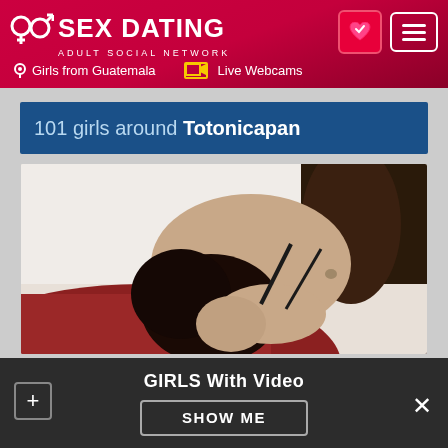SEX DATING ADULT SOCIAL NETWORK | Girls from Guatemala | Live Webcams
101 girls around Totonicapan
[Figure (photo): A woman lying back on a red surface, photographed from an angle showing her torso and face tilted back, with dark hair, wearing minimal dark clothing.]
GIRLS With Video
SHOW ME